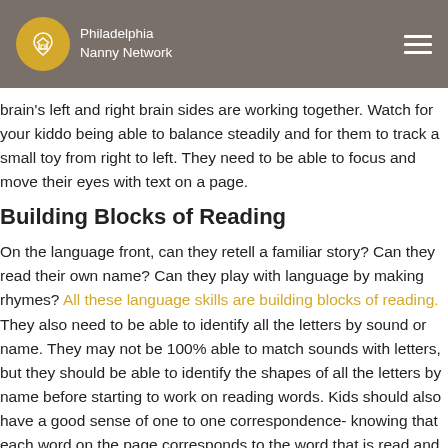Philadelphia Nanny Network
brain's left and right brain sides are working together. Watch for your kiddo being able to balance steadily and for them to track a small toy from right to left. They need to be able to focus and move their eyes with text on a page.
Building Blocks of Reading
On the language front, can they retell a familiar story? Can they read their own name? Can they play with language by making rhymes? All these language skills are building blocks of reading. They also need to be able to identify all the letters by sound or name. They may not be 100% able to match sounds with letters, but they should be able to identify the shapes of all the letters by name before starting to work on reading words. Kids should also have a good sense of one to one correspondence- knowing that each word on the page corresponds to the word that is read and that each word has a meaning.